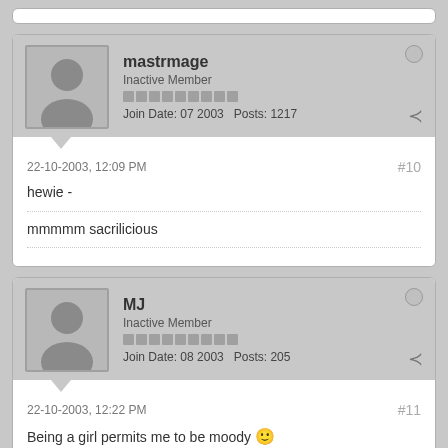mastrmage — Inactive Member — Join Date: 07 2003   Posts: 1217
22-10-2003, 12:09 PM   #10
hewie -
mmmmm sacrilicious
MJ — Inactive Member — Join Date: 08 2003   Posts: 205
22-10-2003, 12:22 PM   #11
Being a girl permits me to be moody 🙂